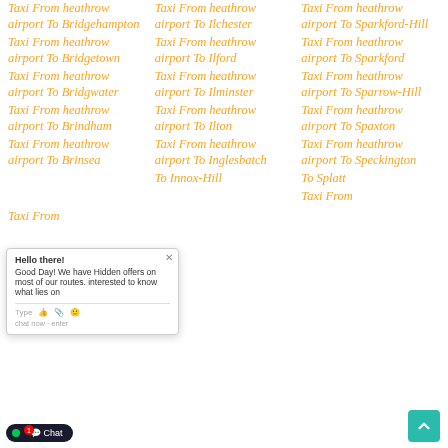Taxi From heathrow airport To Bridgehampton
Taxi From heathrow airport To Bridgetown
Taxi From heathrow airport To Bridgwater
Taxi From heathrow airport To Brindham
Taxi From heathrow airport To Brinsea
Taxi From heathrow airport To Ilchester
Taxi From heathrow airport To Ilford
Taxi From heathrow airport To Ilminster
Taxi From heathrow airport To Ilton
Taxi From heathrow airport To Inglesbatch
Taxi From heathrow airport To Innox-Hill
Taxi From heathrow airport To Sparkford-Hill
Taxi From heathrow airport To Sparkford
Taxi From heathrow airport To Sparrow-Hill
Taxi From heathrow airport To Spaxton
Taxi From heathrow airport To Speckington
Taxi From heathrow airport To Splatt